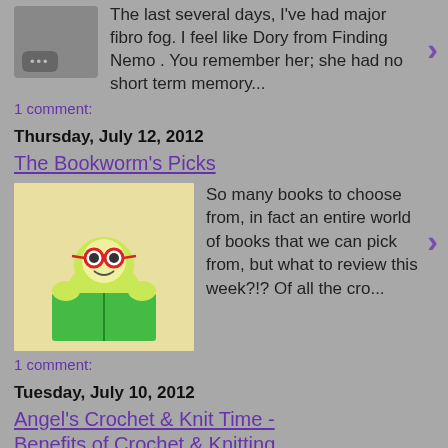The last several days, I've had major fibro fog. I feel like Dory from Finding Nemo . You remember her; she had no short term memory...
1 comment:
Thursday, July 12, 2012
The Bookworm's Picks
[Figure (illustration): Cartoon bookworm with red glasses reading a green book]
So many books to choose from, in fact an entire world of books that we can pick from, but what to review this week?!?  Of all the cro...
1 comment:
Tuesday, July 10, 2012
Angel's Crochet & Knit Time - Benefits of Crochet & Knitting
[Figure (photo): Photo of women doing crochet/knitting, sitting in chairs]
Instead of talking about a stitch, or a technique, today I thought I'd talk about the benefits of crochet and knitting. Yes, I know, ma...
3 comments: